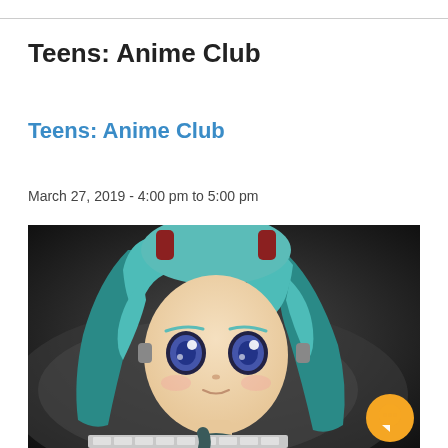Teens: Anime Club
Teens: Anime Club
March 27, 2019 - 4:00 pm to 5:00 pm
[Figure (photo): Close-up photo of a Hatsune Miku nendoroid/chibi anime figure with teal twin-tail hair and dark outfit, positioned near a keyboard, with a blurred dark background.]